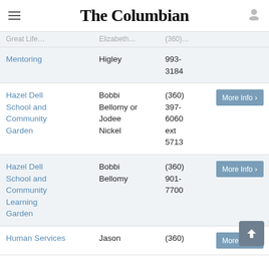The Columbian
| Organization | Contact | Phone |  |
| --- | --- | --- | --- |
| Mentoring | Higley | 993-3184 |  |
| Hazel Dell School and Community Garden | Bobbi Bellomy or Jodee Nickel | (360) 397-6060 ext 5713 | More Info |
| Hazel Dell School and Community Learning Garden | Bobbi Bellomy | (360) 901-7700 | More Info |
| Human Services | Jason | (360) | More Info |